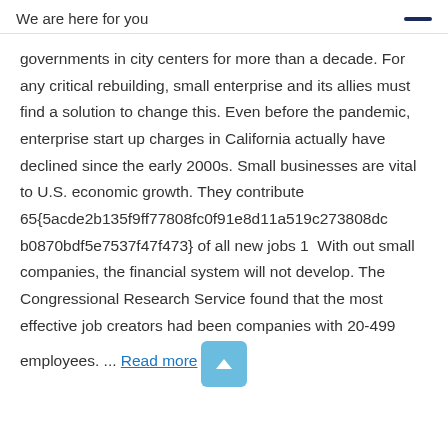We are here for you
governments in city centers for more than a decade. For any critical rebuilding, small enterprise and its allies must find a solution to change this. Even before the pandemic, enterprise start up charges in California actually have declined since the early 2000s. Small businesses are vital to U.S. economic growth. They contribute 65{5acde2b135f9ff77808fc0f91e8d11a519c273808dcb0870bdf5e7537f47f473} of all new jobs 1  With out small companies, the financial system will not develop. The Congressional Research Service found that the most effective job creators had been companies with 20-499 employees. ... Read more